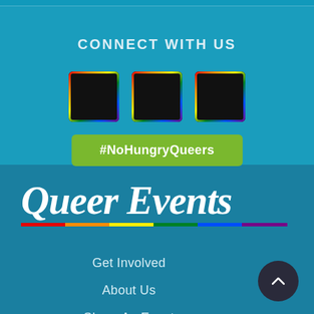CONNECT WITH US
[Figure (illustration): Three social media icons: Facebook (f), Instagram (camera/ring), and Email (envelope), each in a black box with rainbow border]
#NoHungryQueers
[Figure (logo): Queer Events logo in white italic script with rainbow underline]
Get Involved
About Us
Share An Event